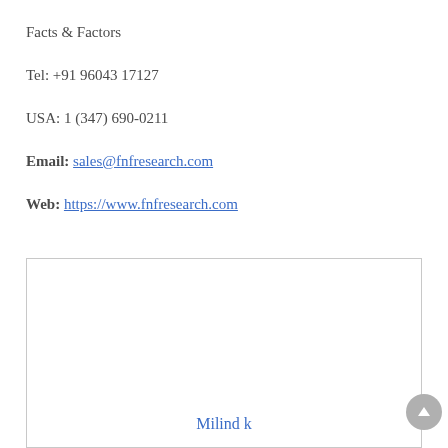Facts & Factors
Tel: +91 96043 17127
USA: 1 (347) 690-0211
Email: sales@fnfresearch.com
Web: https://www.fnfresearch.com
Milind k